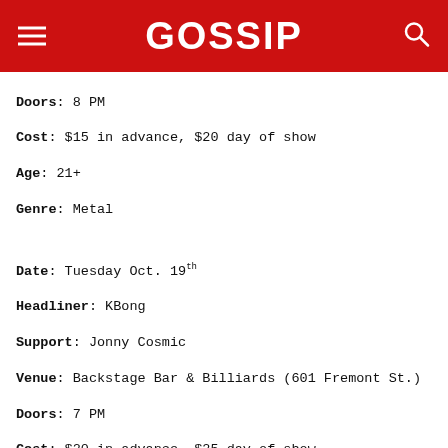GOSSIP
Doors: 8 PM
Cost: $15 in advance, $20 day of show
Age: 21+
Genre: Metal
Date: Tuesday Oct. 19th
Headliner: KBong
Support: Jonny Cosmic
Venue: Backstage Bar & Billiards (601 Fremont St.)
Doors: 7 PM
Cost: $20 in advance, $25 day of show
Age: 21+
Genre: Reggae
Date: Friday, Oct. 22nd
Headliner: Depeche Mode vs. The Smiths Tribute Night
Venue: Backstage Bar & Billiards (601 Fremont St.)
Doors: 8 PM